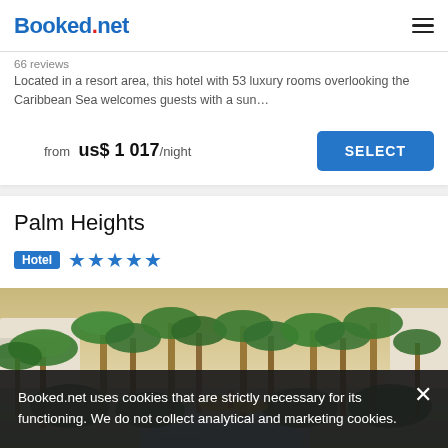Booked.net
66 reviews
Located in a resort area, this hotel with 53 luxury rooms overlooking the Caribbean Sea welcomes guests with a sun…
from us$ 1 017/night
Palm Heights
Hotel ★★★★★
[Figure (photo): Palm Heights hotel pool area with palm trees and tropical garden, person walking in background]
Booked.net uses cookies that are strictly necessary for its functioning. We do not collect analytical and marketing cookies.